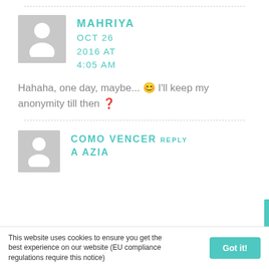[Figure (illustration): Avatar placeholder image for user Mahriya - grey silhouette of a person]
MAHRIYA OCT 26 2016 AT 4:05 AM
Hahaha, one day, maybe... 😊 I'll keep my anonymity till then 🔲
[Figure (illustration): Avatar placeholder image for user Como Vencer A Azia - grey silhouette of a person]
COMO VENCER A AZIA
REPLY
This website uses cookies to ensure you get the best experience on our website (EU compliance regulations require this notice)